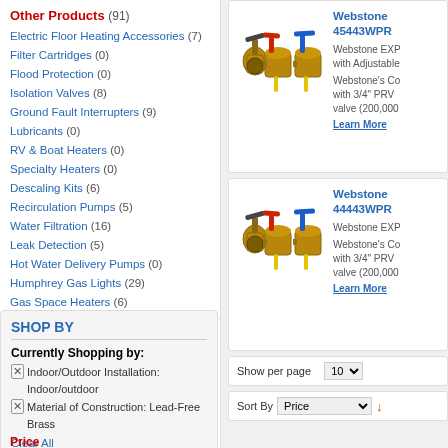Other Products (91)
Electric Floor Heating Accessories (7)
Filter Cartridges (0)
Flood Protection (0)
Isolation Valves (8)
Ground Fault Interrupters (9)
Lubricants (0)
RV & Boat Heaters (0)
Specialty Heaters (0)
Descaling Kits (6)
Recirculation Pumps (5)
Water Filtration (16)
Leak Detection (5)
Hot Water Delivery Pumps (0)
Humphrey Gas Lights (29)
Gas Space Heaters (6)
SHOP BY
Currently Shopping by:
Indoor/Outdoor Installation: Indoor/outdoor
Material of Construction: Lead-Free Brass
Clear All
[Figure (photo): Webstone brass valve assembly with red and blue handles and yellow levers - product 45443WPR]
Webstone 45443WPR
Webstone EXP with Adjustable Webstone's Co with 3/4" PRV valve (200,000 Learn More
[Figure (photo): Webstone brass valve assembly with red and blue handles and yellow levers - product 44443WPR]
Webstone 44443WPR
Webstone EXP Webstone's Co with 3/4" PRV valve (200,000 Learn More
Show per page 10
Sort By Price